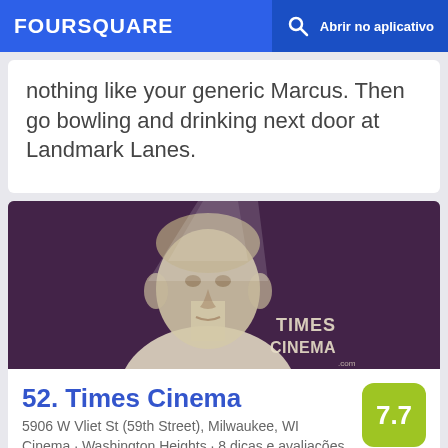FOURSQUARE  Abrir no aplicativo
nothing like your generic Marcus. Then go bowling and drinking next door at Landmark Lanes.
[Figure (photo): Times Cinema logo artwork — a stylized illustration of a man's face/bust in white on a dark purple/maroon background, with 'TIMES CINEMA' text visible in lower right]
52. Times Cinema
5906 W Vliet St (59th Street), Milwaukee, WI
Cinema · Washington Heights · 8 dicas e avaliações